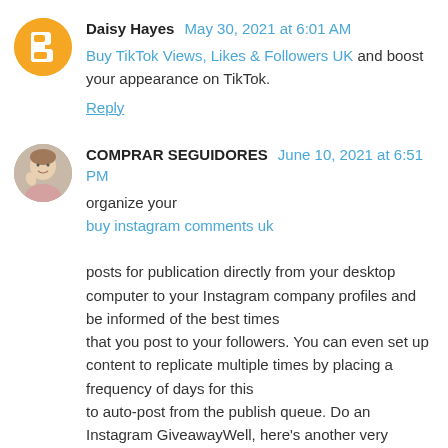Daisy Hayes May 30, 2021 at 6:01 AM
Buy TikTok Views, Likes & Followers UK and boost your appearance on TikTok.
Reply
COMPRAR SEGUIDORES June 10, 2021 at 6:51 PM
organize your
buy instagram comments uk

posts for publication directly from your desktop computer to your Instagram company profiles and be informed of the best times
that you post to your followers. You can even set up content to replicate multiple times by placing a frequency of days for this
to auto-post from the publish queue. Do an Instagram GiveawayWell, here's another very simple trick for you to consider. If you'd
like more tangible comments in your own Instagram